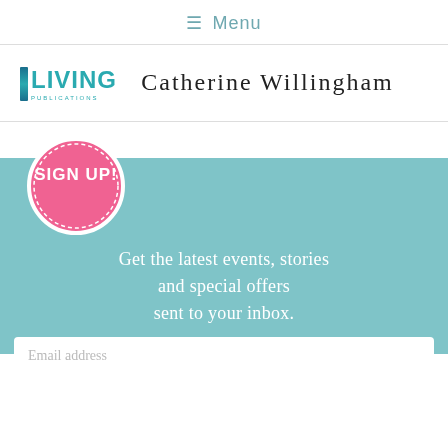≡ Menu
[Figure (logo): Living Publications logo with teal vertical bar and teal bold text LIVING]
Catherine Willingham
[Figure (infographic): Teal signup banner with pink circle badge reading SIGN UP! and text: Get the latest events, stories and special offers sent to your inbox. With email address input field at bottom.]